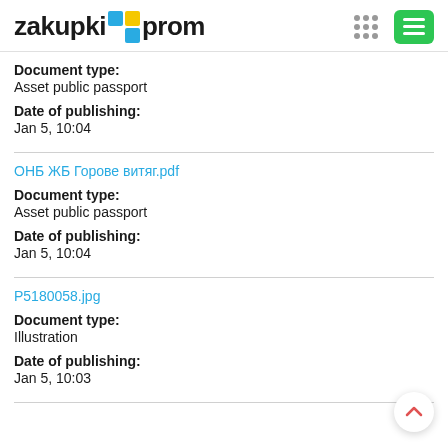zakupki prom
Document type:
Asset public passport
Date of publishing:
Jan 5, 10:04
ОНБ ЖБ Горове витяг.pdf
Document type:
Asset public passport
Date of publishing:
Jan 5, 10:04
P5180058.jpg
Document type:
Illustration
Date of publishing:
Jan 5, 10:03